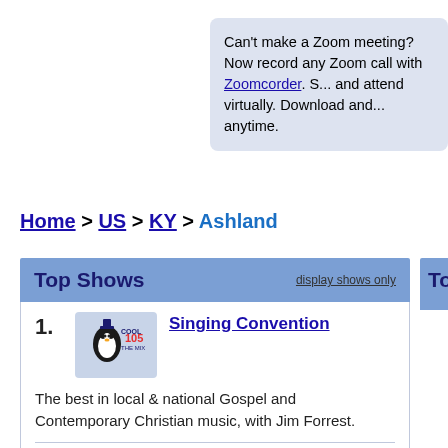Can't make a Zoom meeting? Now record any Zoom call with Zoomcorder. S... and attend virtually. Download and... anytime.
Home > US > KY > Ashland
Top Shows   display shows only
1. Singing Convention — The best in local & national Gospel and Contemporary Christian music, with Jim Forrest.
2. Let's Talk Sports